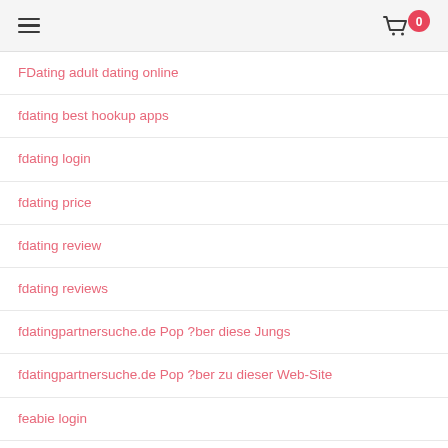menu | cart 0
FDating adult dating online
fdating best hookup apps
fdating login
fdating price
fdating review
fdating reviews
fdatingpartnersuche.de Pop ?ber diese Jungs
fdatingpartnersuche.de Pop ?ber zu dieser Web-Site
feabie login
Feeld review